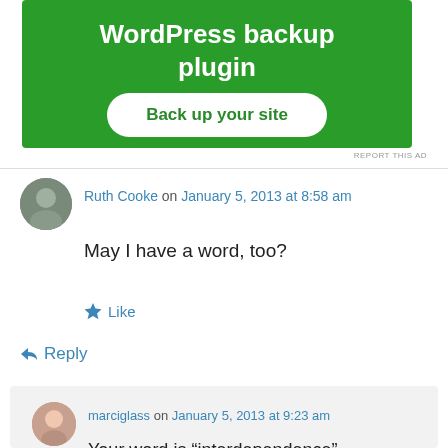[Figure (screenshot): Green advertisement banner for WordPress backup plugin with 'Back up your site' button]
Ruth Cooke on January 5, 2013 at 8:58 am
May I have a word, too?
★ Like
↪ Reply
marciglass on January 5, 2013 at 9:23 am
Your word is “interdependence”.